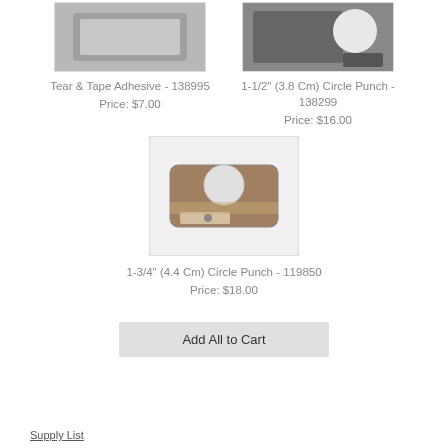[Figure (photo): Product photo of Tear & Tape Adhesive - gray rectangular device]
Tear & Tape Adhesive - 138995
Price: $7.00
[Figure (photo): Product photo of 1-1/2" (3.8 Cm) Circle Punch - dark device with circular element]
1-1/2" (3.8 Cm) Circle Punch - 138299
Price: $16.00
[Figure (photo): Product photo of 1-3/4" (4.4 Cm) Circle Punch - bronze/tan colored punch device]
1-3/4" (4.4 Cm) Circle Punch - 119850
Price: $18.00
Add All to Cart
Supply List